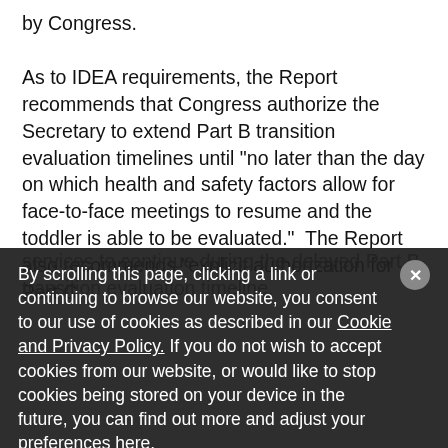by Congress. As to IDEA requirements, the Report recommends that Congress authorize the Secretary to extend Part B transition evaluation timelines until “no later than the day on which health and safety factors allow for face-to-face meetings to resume and the toddler is able to be evaluated.”  The Report also recommends “explicit authorization for Part C services to continue during the delayed Part B transition evaluation timeline.
By scrolling this page, clicking a link or continuing to browse our website, you consent to our use of cookies as described in our Cookie and Privacy Policy. If you do not wish to accept cookies from our website, or would like to stop cookies being stored on your device in the future, you can find out more and adjust your preferences here.